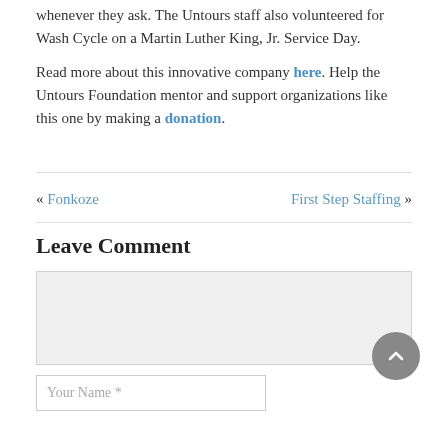whenever they ask. The Untours staff also volunteered for Wash Cycle on a Martin Luther King, Jr. Service Day.
Read more about this innovative company here. Help the Untours Foundation mentor and support organizations like this one by making a donation.
« Fonkoze    First Step Staffing »
Leave Comment
[comment textarea]
Your Name *